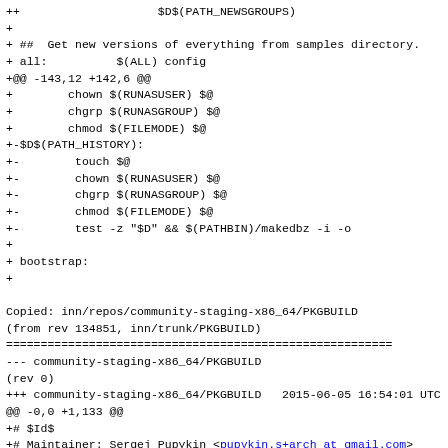++                    $D$(PATH_NEWSGROUPS)
+
+ ##  Get new versions of everything from samples directory.
+ all:          $(ALL) config
+@@ -143,12 +142,6 @@
+        chown $(RUNASUSER) $@
+        chgrp $(RUNASGROUP) $@
+        chmod $(FILEMODE) $@
+-$D$(PATH_HISTORY):
+-        touch $@
+-        chown $(RUNASUSER) $@
+-        chgrp $(RUNASGROUP) $@
+-        chmod $(FILEMODE) $@
+-        test -z "$D" && $(PATHBIN)/makedbz -i -o
+
+ bootstrap:
+

Copied: inn/repos/community-staging-x86_64/PKGBUILD
(from rev 134851, inn/trunk/PKGBUILD)
========================================================
--- community-staging-x86_64/PKGBUILD
(rev 0)
+++ community-staging-x86_64/PKGBUILD   2015-06-05 16:54:01 UTC (rev 134852)
@@ -0,0 +1,133 @@
+# $Id$
+# Maintainer: Sergej Pupykin <pupykin.s+arch at gmail.com>